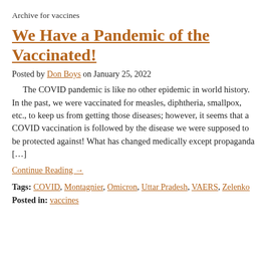Archive for vaccines
We Have a Pandemic of the Vaccinated!
Posted by Don Boys on January 25, 2022
The COVID pandemic is like no other epidemic in world history. In the past, we were vaccinated for measles, diphtheria, smallpox, etc., to keep us from getting those diseases; however, it seems that a COVID vaccination is followed by the disease we were supposed to be protected against! What has changed medically except propaganda […]
Continue Reading →
Tags: COVID, Montagnier, Omicron, Uttar Pradesh, VAERS, Zelenko
Posted in: vaccines